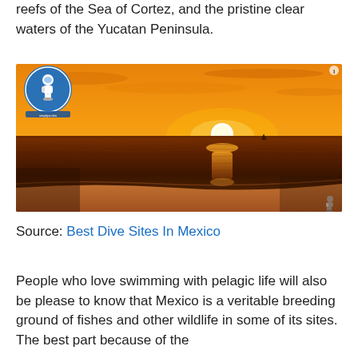reefs of the Sea of Cortez, and the pristine clear waters of the Yucatan Peninsula.
[Figure (photo): Sunset over the ocean with warm orange sky and golden reflections on calm water, a small sailboat visible on the horizon. A scuba diver logo watermark appears in the upper left corner.]
Source: Best Dive Sites In Mexico
People who love swimming with pelagic life will also be please to know that Mexico is a veritable breeding ground of fishes and other wildlife in some of its sites. The best part because of the